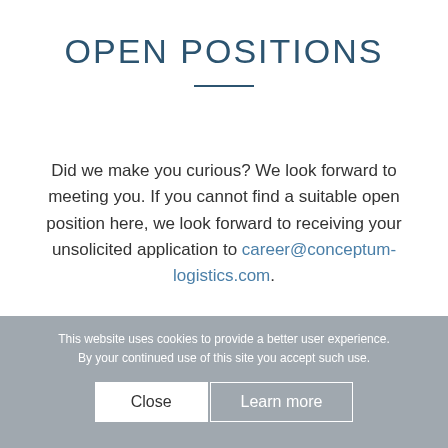OPEN POSITIONS
Did we make you curious? We look forward to meeting you. If you cannot find a suitable open position here, we look forward to receiving your unsolicited application to career@conceptum-logistics.com.
This website uses cookies to provide a better user experience. By your continued use of this site you accept such use.